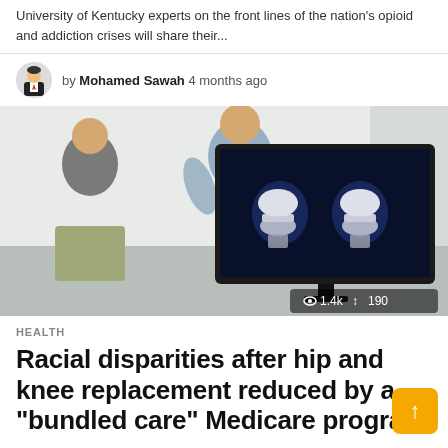University of Kentucky experts on the front lines of the nation's opioid and addiction crises will share their...
by Mohamed Sawah 4 months ago
[Figure (photo): A doctor and patient looking at a monitor displaying an X-ray of a knee replacement implant. Stats badge shows 1.4k views and 190 shares.]
HEALTH
Racial disparities after hip and knee replacement reduced by a "bundled care" Medicare program
A "bundled care" Medicare program to improve care